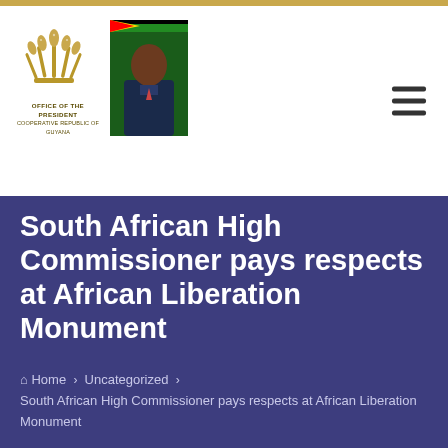Office of the President – Cooperative Republic of Guyana
South African High Commissioner pays respects at African Liberation Monument
Home › Uncategorized › South African High Commissioner pays respects at African Liberation Monument